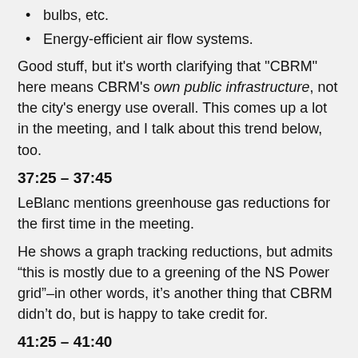bulbs, etc.
Energy-efficient air flow systems.
Good stuff, but it's worth clarifying that "CBRM" here means CBRM's own public infrastructure, not the city's energy use overall. This comes up a lot in the meeting, and I talk about this trend below, too.
37:25 – 37:45
LeBlanc mentions greenhouse gas reductions for the first time in the meeting.
He shows a graph tracking reductions, but admits “this is mostly due to a greening of the NS Power grid”–in other words, it’s another thing that CBRM didn’t do, but is happy to take credit for.
41:25 – 41:40
LeBlanc lists funding opportunities that can help CBRM go green: "What we really need to do is have a plan." He suggests a few cornerstones:
Increasing the use and supply of renewable energy;
More investment in public transit;
Urban forestry management to absorb more carbon